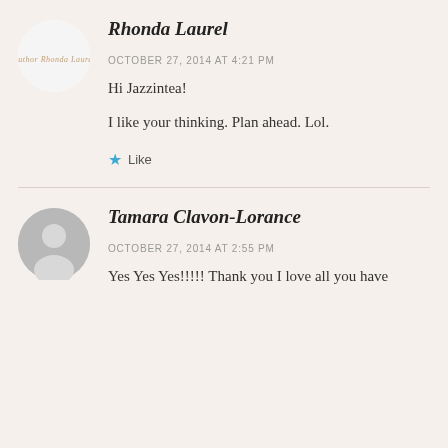Rhonda Laurel
OCTOBER 27, 2014 AT 4:21 PM
Hi Jazzintea!
I like your thinking. Plan ahead. Lol.
★ Like
Tamara Clavon-Lorance
OCTOBER 27, 2014 AT 2:55 PM
Yes Yes Yes!!!!! Thank you I love all you have